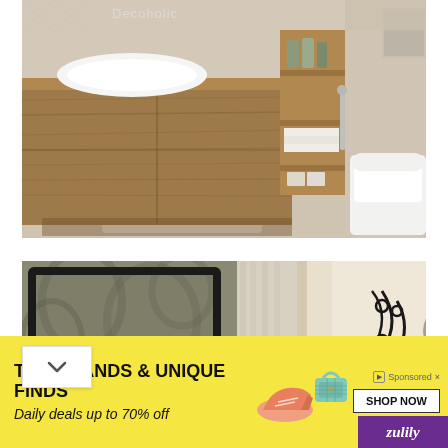[Figure (photo): Modern bathroom interior with floating wood vanity cabinet, white vessel sink, open shelving unit with toiletries and folded towels, wall-mounted toilet, and light stone tile walls and floor. Decoholic watermark visible at top.]
[Figure (photo): Interior room scene showing decorative wallpaper with floral motifs, a framed artwork or mirror, curtains, and wrought iron decorative elements near a window with bright light coming through.]
[Figure (screenshot): Advertisement banner with yellow background reading TOP BRANDS & UNIQUE FINDS with tagline Daily deals up to 70% off, showing images of a shoe and a handbag, a SHOP NOW button, and the Zulily logo in purple at bottom right.]